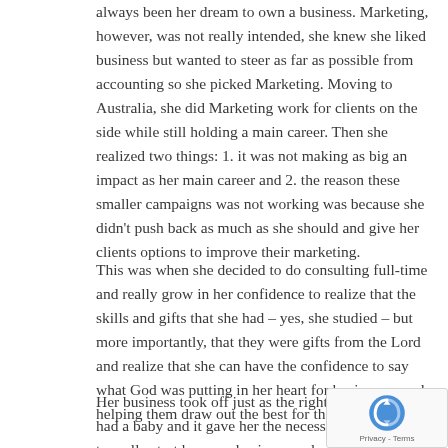always been her dream to own a business. Marketing, however, was not really intended, she knew she liked business but wanted to steer as far as possible from accounting so she picked Marketing. Moving to Australia, she did Marketing work for clients on the side while still holding a main career. Then she realized two things: 1. it was not making as big an impact as her main career and 2. the reason these smaller campaigns was not working was because she didn't push back as much as she should and give her clients options to improve their marketing.
This was when she decided to do consulting full-time and really grow in her confidence to realize that the skills and gifts that she had – yes, she studied – but more importantly, that they were gifts from the Lord and realize that she can have the confidence to say what God was putting in her heart for businesses and helping them draw out the best for their business.
Her business took off just as the right moment, she had a baby and it gave her the necessary motivation to really start her own business and work from home. Now her husband is also working from home and it can't have been more perfect for their family. There's just so much benefit for a child, as more life